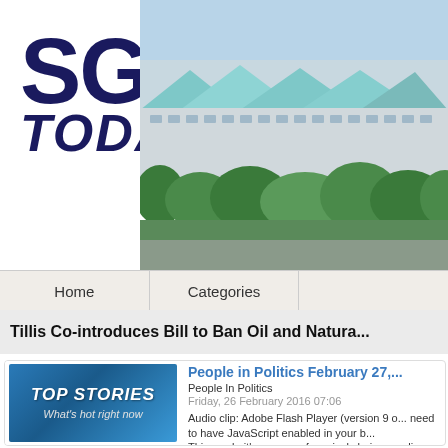[Figure (photo): SGR Today website header with logo text 'SGR TODAY' on left and photo of a modern building/convention center with green trees on right]
Home    Categories
Tillis Co-introduces Bill to Ban Oil and Natura...
[Figure (logo): Top Stories banner - What's hot right now]
People in Politics February 27,...
People In Politics
Friday, 26 February 2016 07:06
Audio clip: Adobe Flash Player (version 9 o... need to have JavaScript enabled in your b...
This week, it's a game of musical chairs as... lines submitted to a federal court, along wi... campaign trail from Rick Henderson of Ca... George Holding that he will challenge fello... New map lines put Holding outside the ne... reaction, and word that state legislator An... which was moved about 100 miles west of... Senate endorsement for Deborah Ross fro...